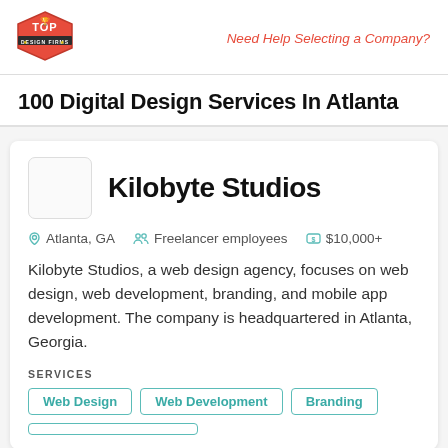Need Help Selecting a Company?
100 Digital Design Services In Atlanta
Kilobyte Studios
Atlanta, GA   Freelancer employees   $10,000+
Kilobyte Studios, a web design agency, focuses on web design, web development, branding, and mobile app development. The company is headquartered in Atlanta, Georgia.
SERVICES
Web Design
Web Development
Branding